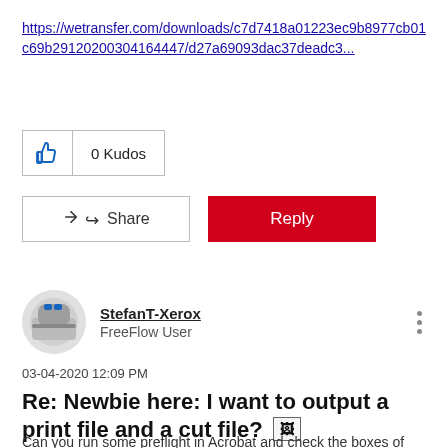https://wetransfer.com/downloads/c7d7418a01223ec9b8977cb01c69b29120200304164447/d27a69093dac37deadc3...
0 Kudos
Share
Reply
StefanT-Xerox
FreeFlow User
03-04-2020 12:09 PM
Re: Newbie here: I want to output a print file and a cut file?
Can you run some preflight in Acrobat and check the boxes of your pdf to see if your ArtBox has a different size than the TrimBox. I don't know what software you are using to